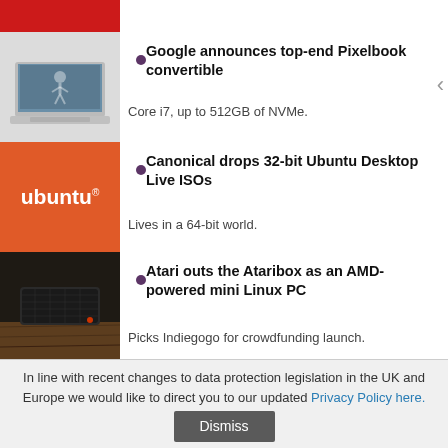[Figure (screenshot): Partial red header bar at top of page]
[Figure (photo): Laptop (Pixelbook) image thumbnail]
Google announces top-end Pixelbook convertible
Core i7, up to 512GB of NVMe.
[Figure (logo): Ubuntu orange logo tile with ubuntu® text]
Canonical drops 32-bit Ubuntu Desktop Live ISOs
Lives in a 64-bit world.
[Figure (photo): Dark Ataribox gaming console on wooden table]
Atari outs the Ataribox as an AMD-powered mini Linux PC
Picks Indiegogo for crowdfunding launch.
[Figure (logo): Android 8.0 Oreo golden arc logo]
Google launches Android 8.0 Oreo
AOSP now, Nexus & Pixel later.
In line with recent changes to data protection legislation in the UK and Europe we would like to direct you to our updated Privacy Policy here.
Dismiss